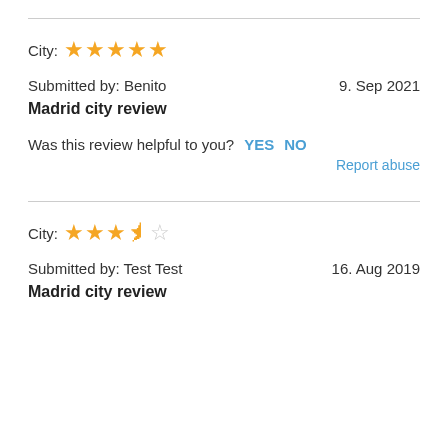City: ★★★★★
Submitted by: Benito   9. Sep 2021
Madrid city review
Was this review helpful to you?  YES  NO
Report abuse
City: ★★★½☆
Submitted by: Test Test   16. Aug 2019
Madrid city review